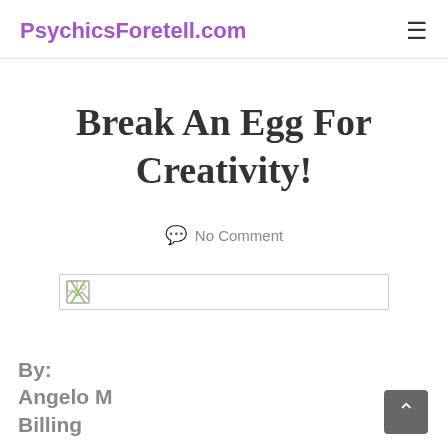PsychicsForetell.com
Break An Egg For Creativity!
No Comment
[Figure (other): Broken/missing image placeholder with small icon]
By: Angelo M Billing